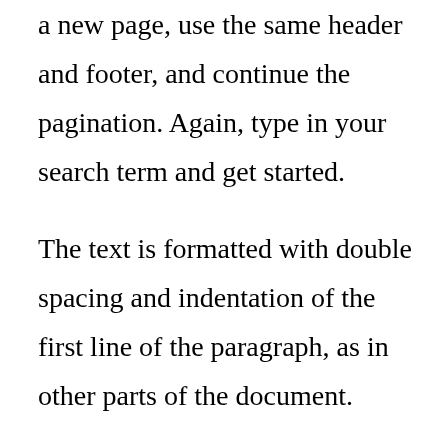a new page, use the same header and footer, and continue the pagination. Again, type in your search term and get started.
The text is formatted with double spacing and indentation of the first line of the paragraph, as in other parts of the document.
According to the requirements of the APA citation format, the main text of the publication must consist of four parts: Introduction, methodology, results, conclusions. Each section should have an appropriate title (bold APA, center aligned). The only exception is the introduction (the